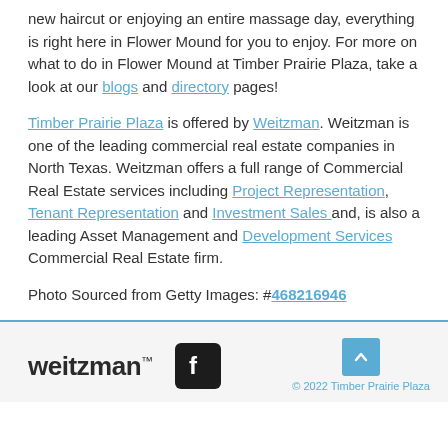new haircut or enjoying an entire massage day, everything is right here in Flower Mound for you to enjoy. For more on what to do in Flower Mound at Timber Prairie Plaza, take a look at our blogs and directory pages!
Timber Prairie Plaza is offered by Weitzman. Weitzman is one of the leading commercial real estate companies in North Texas. Weitzman offers a full range of Commercial Real Estate services including Project Representation, Tenant Representation and Investment Sales and, is also a leading Asset Management and Development Services Commercial Real Estate firm.
Photo Sourced from Getty Images: #468216946
weitzman™  [Facebook icon]  © 2022 Timber Prairie Plaza